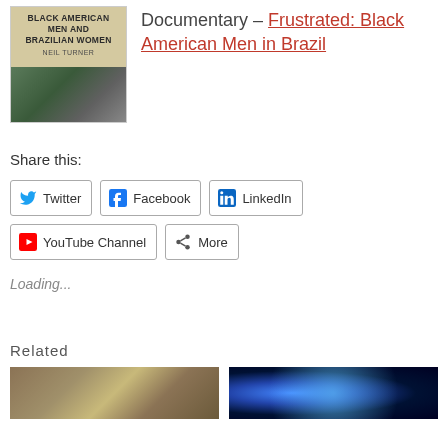[Figure (photo): Book cover: Black American Men and Brazilian Women by Neil Turner, with image of people below the title text]
Documentary – Frustrated: Black American Men in Brazil
Share this:
Twitter
Facebook
LinkedIn
YouTube Channel
More
Loading...
Related
[Figure (photo): Thumbnail image showing a desk or document scene (sepia toned)]
[Figure (photo): Thumbnail image showing a dark background with blue glowing light nodes (network or technology theme)]